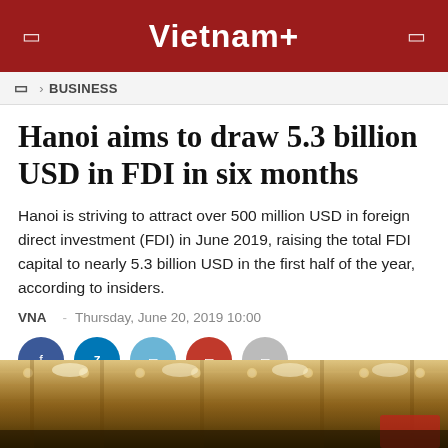Vietnam+
BUSINESS
Hanoi aims to draw 5.3 billion USD in FDI in six months
Hanoi is striving to attract over 500 million USD in foreign direct investment (FDI) in June 2019, raising the total FDI capital to nearly 5.3 billion USD in the first half of the year, according to insiders.
VNA - Thursday, June 20, 2019 10:00
[Figure (photo): Interior of an industrial/factory building with ceiling lights and machinery visible]
[Figure (infographic): Social media share buttons: Facebook, Zalo, Twitter, Google+, and share]